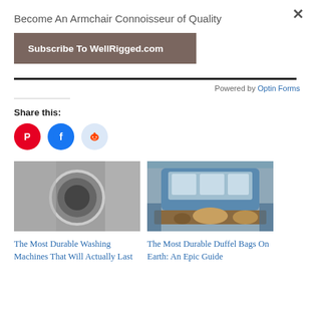×
Become An Armchair Connoisseur of Quality
Subscribe To WellRigged.com
Powered by Optin Forms
Share this:
[Figure (illustration): Pinterest, Facebook, and Reddit share icon circles]
[Figure (photo): Photo of a washing machine drum with laundry inside]
The Most Durable Washing Machines That Will Actually Last
[Figure (photo): Photo of a blue pickup truck bed with a brown duffel bag]
The Most Durable Duffel Bags On Earth: An Epic Guide